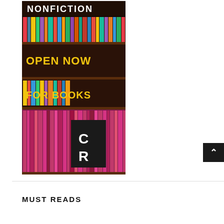[Figure (photo): Bookstore/library shelves filled with colorful books. Text overlay reads 'NONFICTION' in white at the top, 'OPEN NOW' in yellow in the middle, 'FOR BOOKS' in yellow below that. A black-and-white logo with letters 'C' over 'R' appears in the lower portion of the image.]
MUST READS